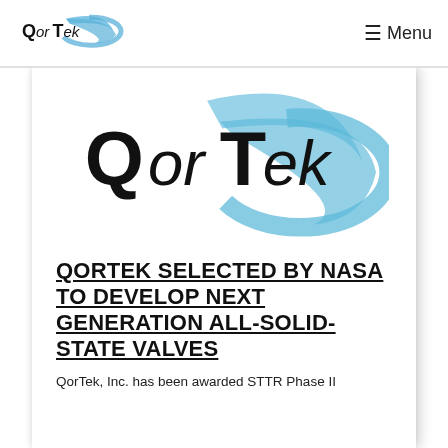[Figure (logo): QorTek logo in navigation bar — black bold text 'QorTek' with a blue swoosh/arc graphic to the right]
≡ Menu
[Figure (logo): Large QorTek logo centered in content card — black bold stylized text 'QorTek' with a large blue swoosh/arc graphic wrapping the right side]
QORTEK SELECTED BY NASA TO DEVELOP NEXT GENERATION ALL-SOLID-STATE VALVES
QorTek, Inc. has been awarded STTR Phase II